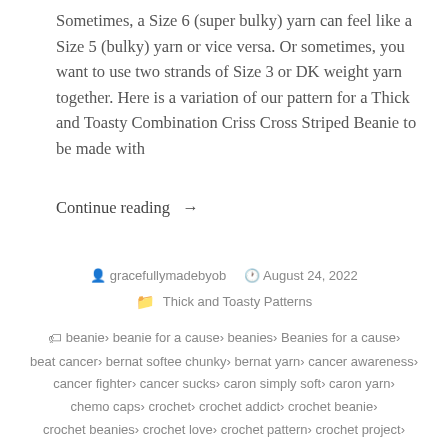Sometimes, a Size 6 (super bulky) yarn can feel like a Size 5 (bulky) yarn or vice versa. Or sometimes, you want to use two strands of Size 3 or DK weight yarn together. Here is a variation of our pattern for a Thick and Toasty Combination Criss Cross Striped Beanie to be made with
Continue reading →
gracefullymadebyob   August 24, 2022   Thick and Toasty Patterns
beanie, beanie for a cause, beanies, Beanies for a cause, beat cancer, bernat softee chunky, bernat yarn, cancer awareness, cancer fighter, cancer sucks, caron simply soft, caron yarn, chemo caps, crochet, crochet addict, crochet beanie, crochet beanies, crochet love, crochet pattern, crochet project, crochet with love, crocheted, crocheting, fight cancer, free pattern, handmade, handmade with love, lion brand basic stitch yarn,